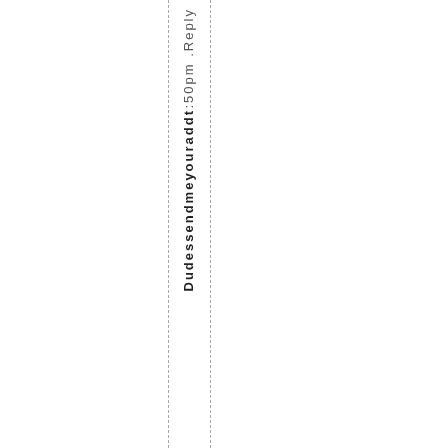:50pm .Reply Dudessendmeyouradd